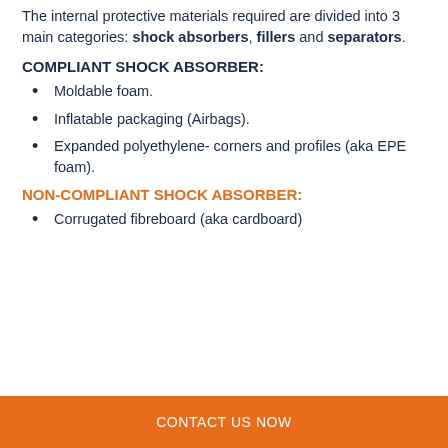The internal protective materials required are divided into 3 main categories: shock absorbers, fillers and separators.
COMPLIANT SHOCK ABSORBER:
Moldable foam.
Inflatable packaging (Airbags).
Expanded polyethylene- corners and profiles (aka EPE foam).
NON-COMPLIANT SHOCK ABSORBER:
Corrugated fibreboard (aka cardboard)
CONTACT US NOW